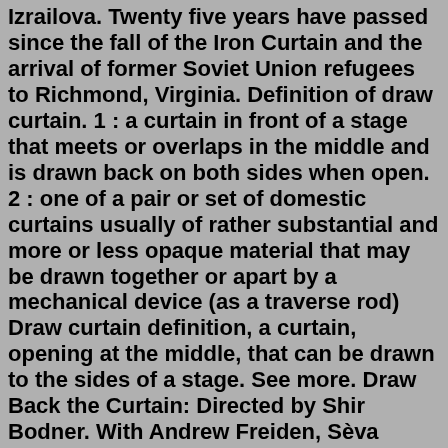Izrailova. Twenty five years have passed since the fall of the Iron Curtain and the arrival of former Soviet Union refugees to Richmond, Virginia. Definition of draw curtain. 1 : a curtain in front of a stage that meets or overlaps in the middle and is drawn back on both sides when open. 2 : one of a pair or set of domestic curtains usually of rather substantial and more or less opaque material that may be drawn together or apart by a mechanical device (as a traverse rod) Draw curtain definition, a curtain, opening at the middle, that can be drawn to the sides of a stage. See more. Draw Back the Curtain: Directed by Shir Bodner. With Andrew Freiden, Sèva Izrailova. Twenty five years have passed since the fall of the Iron Curtain and the arrival of former Soviet Union refugees to Richmond, Virginia. What would you sacrifice for the American dream? Copyright © 2014 Jewish Family Services idiom Definition of draw the blinds/curtain/shades on : to end (something that has been continuing for a long time) Let's draw the curtain on this investigation. Learn More About draw